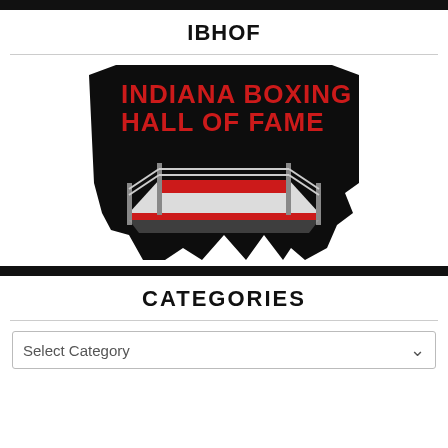IBHOF
[Figure (logo): Indiana Boxing Hall of Fame logo: black silhouette of the state of Indiana with red bold text 'INDIANA BOXING HALL OF FAME' at the top and a boxing ring illustration in the center-lower area.]
CATEGORIES
Select Category